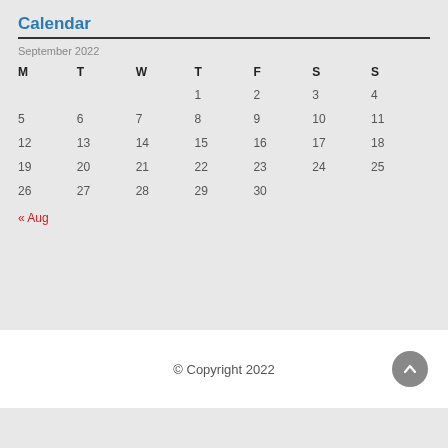Calendar
September 2022
| M | T | W | T | F | S | S |
| --- | --- | --- | --- | --- | --- | --- |
|  |  |  | 1 | 2 | 3 | 4 |
| 5 | 6 | 7 | 8 | 9 | 10 | 11 |
| 12 | 13 | 14 | 15 | 16 | 17 | 18 |
| 19 | 20 | 21 | 22 | 23 | 24 | 25 |
| 26 | 27 | 28 | 29 | 30 |  |  |
« Aug
© Copyright 2022